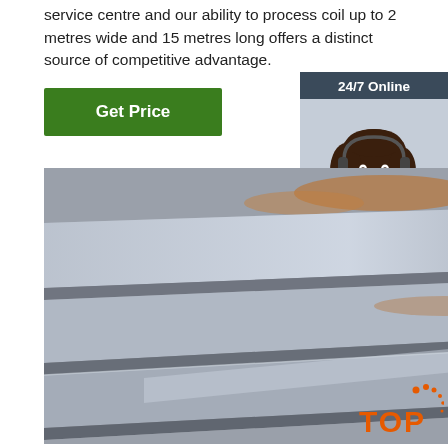service centre and our ability to process coil up to 2 metres wide and 15 metres long offers a distinct source of competitive advantage.
[Figure (other): Green 'Get Price' button]
[Figure (other): 24/7 Online sidebar widget with customer service representative photo, 'Click here for free chat!' text, and orange QUOTATION button]
[Figure (photo): Stacked steel metal plates/sheets photographed at an angle, showing multiple layers of flat steel with a metallic gray appearance]
[Figure (logo): Orange 'TOP' logo with decorative dots in lower right corner]